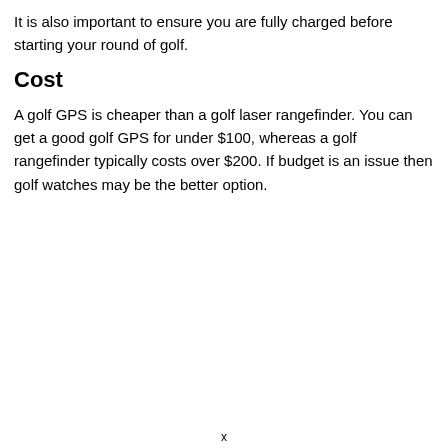It is also important to ensure you are fully charged before starting your round of golf.
Cost
A golf GPS is cheaper than a golf laser rangefinder. You can get a good golf GPS for under $100, whereas a golf rangefinder typically costs over $200. If budget is an issue then golf watches may be the better option.
x